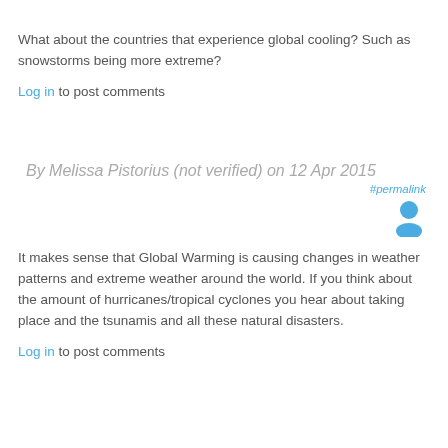What about the countries that experience global cooling? Such as snowstorms being more extreme?
Log in to post comments
By Melissa Pistorius (not verified) on 12 Apr 2015
#permalink
[Figure (illustration): User avatar icon (person silhouette in blue)]
It makes sense that Global Warming is causing changes in weather patterns and extreme weather around the world. If you think about the amount of hurricanes/tropical cyclones you hear about taking place and the tsunamis and all these natural disasters.
Log in to post comments